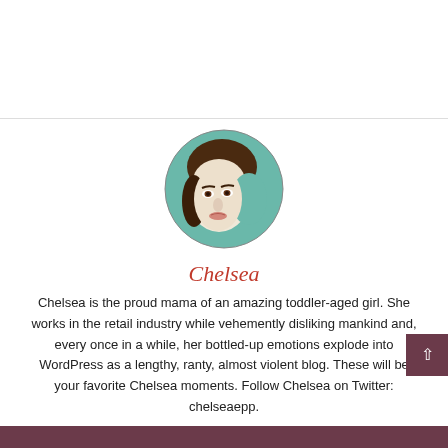[Figure (illustration): Circular illustrated portrait of a woman with brown hair and teal/green background, styled as a hand-drawn illustration.]
Chelsea
Chelsea is the proud mama of an amazing toddler-aged girl. She works in the retail industry while vehemently disliking mankind and, every once in a while, her bottled-up emotions explode into WordPress as a lengthy, ranty, almost violent blog. These will be your favorite Chelsea moments. Follow Chelsea on Twitter: chelseaepp.